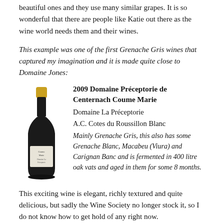beautiful ones and they use many similar grapes. It is so wonderful that there are people like Katie out there as the wine world needs them and their wines.
This example was one of the first Grenache Gris wines that captured my imagination and it is made quite close to Domaine Jones:
[Figure (photo): A wine bottle with a gold foil top and white label, containing a dark wine.]
2009 Domaine Préceptorie de Centernach Coume Marie
Domaine La Préceptorie
A.C. Cotes du Roussillon Blanc
Mainly Grenache Gris, this also has some Grenache Blanc, Macabeu (Viura) and Carignan Banc and is fermented in 400 litre oak vats and aged in them for some 8 months.
This exciting wine is elegant, richly textured and quite delicious, but sadly the Wine Society no longer stock it, so I do not know how to get hold of any right now.